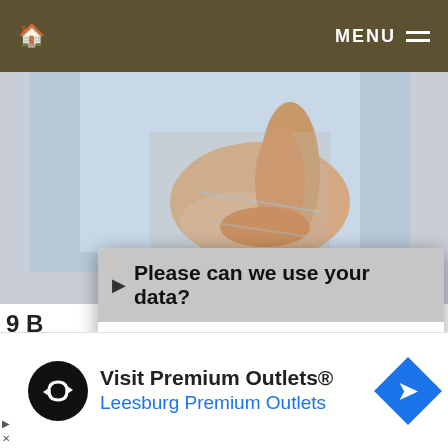🏠  MENU ≡
[Figure (photo): Close-up photo of a person's hand on fabric or clothing, blue/grey tones]
9 B...
huma...
[Figure (screenshot): Cookie consent modal dialog with header 'Please can we use your data?' and body text about cookies and marketing]
We use necessary cookies to make our site work. We'd also like to set optional analytics cookies to help us understand how the site is used, and marketing cookies to help ensure that you see relevant advertising. You can allow all cookies or manage them individually. More information
[Figure (other): Advertisement banner: Visit Premium Outlets® — Leesburg Premium Outlets, with black circle logo and blue diamond arrow icon]